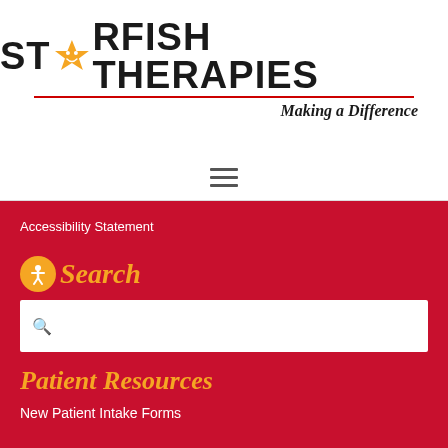[Figure (logo): Starfish Therapies logo with orange star icon replacing the A in STARFISH, bold black text, red underline, italic tagline 'Making a Difference']
[Figure (other): Hamburger menu icon (three horizontal lines)]
Accessibility Statement
Search
[Figure (other): Search input box with magnifying glass icon]
Patient Resources
New Patient Intake Forms